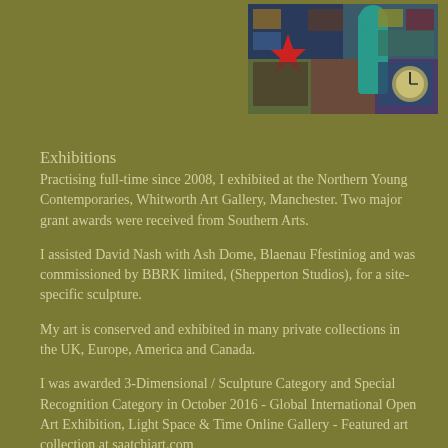[Figure (photo): Collage of colorful artworks and sculptures displayed in a gallery or studio setting, showing various pieces with vivid colors including a red star and teal/turquoise figures.]
Exhibitions
Practising full-time since 2008, I exhibited at the Northern Young Contemporaries, Whitworth Art Gallery, Manchester. Two major grant awards were received from Southern Arts.
I assisted David Nash with Ash Dome, Blaenau Ffestiniog and was commissioned by BBRK limited, (Shepperton Studios), for a site-specific sculpture.
My art is conserved and exhibited in many private collections in the UK, Europe, America and Canada.
I was awarded 3-Dimensional / Sculpture Category and Special Recognition Category in October 2016 - Global International Open Art Exhibition, Light Space & Time Online Gallery - Featured art collection at saatchiart.com